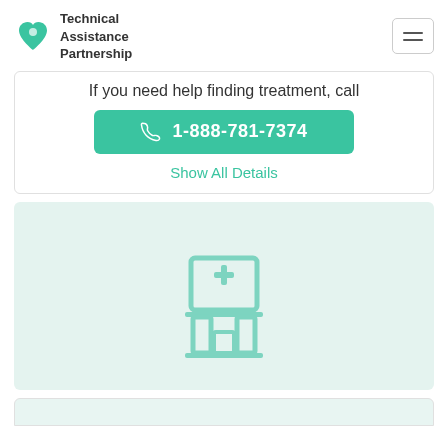Technical Assistance Partnership
If you need help finding treatment, call
1-888-781-7374
Show All Details
[Figure (illustration): Medical/pharmacy building icon with a plus sign on the front, rendered in light teal on a light green background]